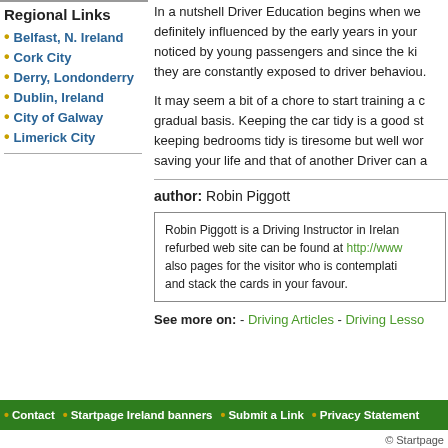Regional Links
Belfast, N. Ireland
Cork City
Derry, Londonderry
Dublin, Ireland
City of Galway
Limerick City
In a nutshell Driver Education begins when we definitely influenced by the early years in your noticed by young passengers and since the ki they are constantly exposed to driver behaviou.
It may seem a bit of a chore to start training a gradual basis. Keeping the car tidy is a good s keeping bedrooms tidy is tiresome but well wo saving your life and that of another Driver can a
author: Robin Piggott
Robin Piggott is a Driving Instructor in Irelan refurbed web site can be found at http://www also pages for the visitor who is contemplati and stack the cards in your favour.
See more on: - Driving Articles - Driving Lesso
Contact • Startpage Ireland banners • Submit a Link • Privacy Statement
© Startpage